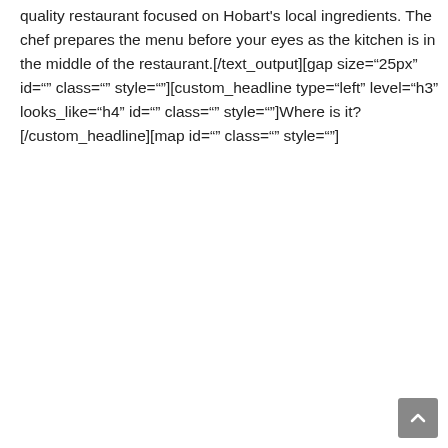quality restaurant focused on Hobart's local ingredients. The chef prepares the menu before your eyes as the kitchen is in the middle of the restaurant.[/text_output][gap size="25px" id="" class="" style=""][custom_headline type="left" level="h3" looks_like="h4" id="" class="" style=""]Where is it?[/custom_headline][map id="" class="" style=""]